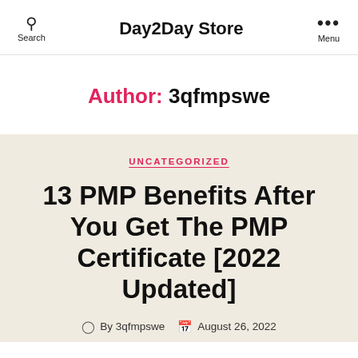Day2Day Store
Author: 3qfmpswe
UNCATEGORIZED
13 PMP Benefits After You Get The PMP Certificate [2022 Updated]
By 3qfmpswe  August 26, 2022